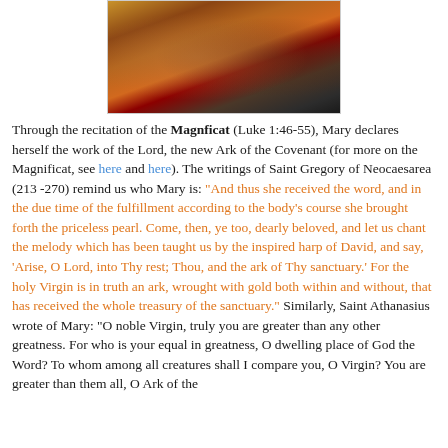[Figure (photo): A painting depicting religious figures, partially cropped, showing robed figures in orange, brown, and dark tones.]
Through the recitation of the Magnficat (Luke 1:46-55), Mary declares herself the work of the Lord, the new Ark of the Covenant (for more on the Magnificat, see here and here). The writings of Saint Gregory of Neocaesarea (213 -270) remind us who Mary is: "And thus she received the word, and in the due time of the fulfillment according to the body's course she brought forth the priceless pearl. Come, then, ye too, dearly beloved, and let us chant the melody which has been taught us by the inspired harp of David, and say, 'Arise, O Lord, into Thy rest; Thou, and the ark of Thy sanctuary.' For the holy Virgin is in truth an ark, wrought with gold both within and without, that has received the whole treasury of the sanctuary." Similarly, Saint Athanasius wrote of Mary: "O noble Virgin, truly you are greater than any other greatness. For who is your equal in greatness, O dwelling place of God the Word? To whom among all creatures shall I compare you, O Virgin? You are greater than them all, O Ark of the